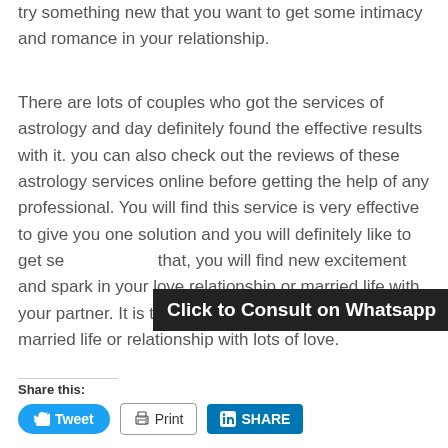try something new that you want to get some intimacy and romance in your relationship.
There are lots of couples who got the services of astrology and day definitely found the effective results with it. you can also check out the reviews of these astrology services online before getting the help of any professional. You will find this service is very effective to give you one solution and you will definitely like to get se... that, you will find new excitement and spark in your love relationship or married life with your partner. It is the perfect way to live a happy married life or relationship with lots of love.
[Figure (other): Black banner overlay with white bold text: Click to Consult on Whatsapp]
Share this:
[Figure (other): Social share buttons: Tweet (Twitter/blue), Print (outlined), SHARE (LinkedIn/blue)]